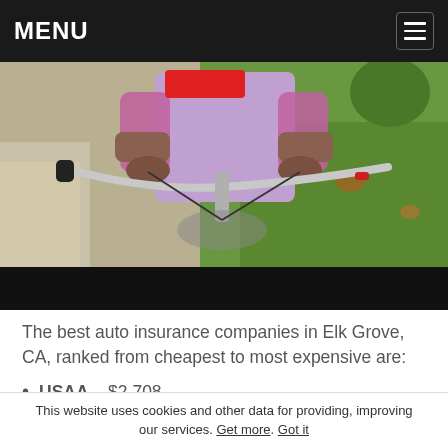MENU
[Figure (photo): Child on bicycle handlebar view, outdoor sidewalk and grass background, red play button overlay, black bar at bottom (video thumbnail)]
The best auto insurance companies in Elk Grove, CA, ranked from cheapest to most expensive are:
USAA – $2,708
GEICO – $2,660
Progressive – $2,722
This website uses cookies and other data for providing, improving our services. Get more. Got it